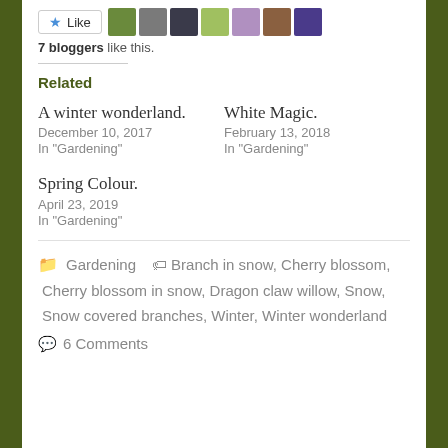7 bloggers like this.
Related
A winter wonderland.
December 10, 2017
In "Gardening"
White Magic.
February 13, 2018
In "Gardening"
Spring Colour.
April 23, 2019
In "Gardening"
Gardening   Branch in snow, Cherry blossom, Cherry blossom in snow, Dragon claw willow, Snow, Snow covered branches, Winter, Winter wonderland
6 Comments